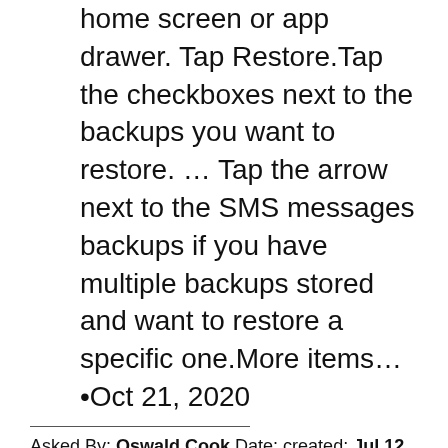home screen or app drawer. Tap Restore.Tap the checkboxes next to the backups you want to restore. … Tap the arrow next to the SMS messages backups if you have multiple backups stored and want to restore a specific one.More items…•Oct 21, 2020
Asked By: Oswald Cook Date: created: Jul 12 2022
Can I backup iMessages to Google Drive
Answered By: Douglas Hall Date: created: Jul 13 2022
Select any contact that contains text messages or iMessages you want to save to Google Drive. Choose Export as PDF. Save the iPhone text messages to your computer. Copy or